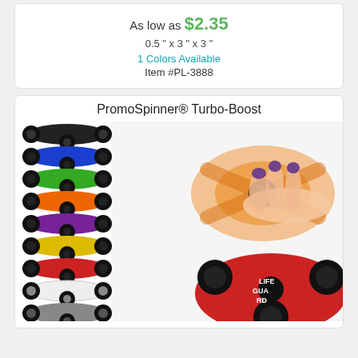As low as $2.35
0.5 " x 3 " x 3 "
1 Colors Available
Item #PL-3888
PromoSpinner® Turbo-Boost
[Figure (photo): Stack of colorful fidget spinners in multiple colors (black, blue, green, orange, purple, yellow, red, white, gray) on the left, and a hand spinning an orange fidget spinner on the right, with a red branded Lifeguard spinner in the foreground.]